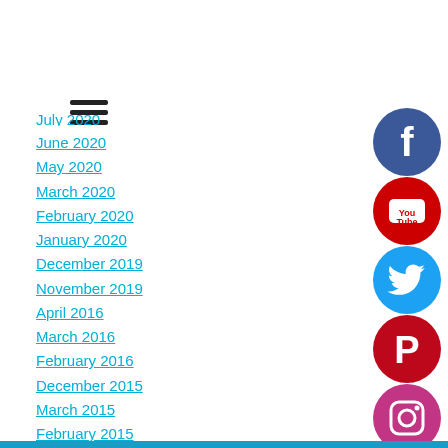[Figure (other): Hamburger menu icon with three horizontal lines]
[July 2020 - partially visible]
June 2020
May 2020
March 2020
February 2020
January 2020
December 2019
November 2019
April 2016
March 2016
February 2016
December 2015
March 2015
February 2015
January 2015
February 2014
[Figure (other): Social media icons column: Facebook (dark blue circle with F), YouTube (red circle with play icon), Twitter (light blue circle with bird), Pinterest (red circle with P), Instagram (pink/magenta circle with camera), Reddit (orange circle with alien mascot)]